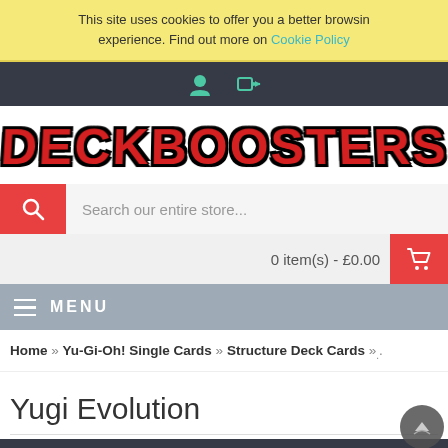This site uses cookies to offer you a better browsing experience. Find out more on Cookie Policy
[Figure (screenshot): Top navigation bar with user account icon and login arrow icon on dark background]
[Figure (logo): DECKBOOSTERS logo in large red bold text with black shadow/outline]
[Figure (screenshot): Search bar with red search icon box on left and placeholder text 'Search our entire store...']
0 item(s) - £0.00
MENU
Home » Yu-Gi-Oh! Single Cards » Structure Deck Cards »..
Yugi Evolution
[Figure (screenshot): Bottom toolbar with grid/list view icons and per-page selector showing 28]